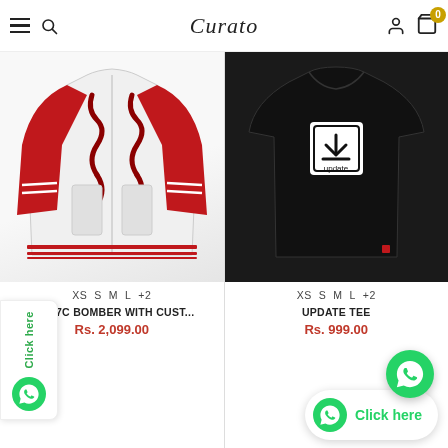Curato — navigation header with menu, search, logo, user icon, cart (0)
[Figure (photo): White and red varsity/bomber jacket with serpent/dragon embroidery and red sleeves]
XS  S  M  L  +2
OM 47C BOMBER WITH CUST...
Rs. 2,099.00
[Figure (photo): Black t-shirt with white square 'update' logo graphic on chest]
XS  S  M  L  +2
UPDATE TEE
Rs. 999.00
[Figure (other): WhatsApp floating click button on left side with 'Click here' text]